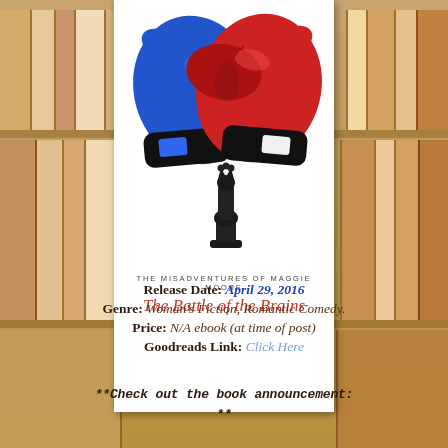[Figure (illustration): Book cover for 'The Misadventures of Maggie Moore: The Battle of the Brains' showing blue and red boxing gloves touching with a chess queen piece between them, and the word 'two' in red above. Title text below reads 'THE MISADVENTURES OF MAGGIE MOORE' and 'The Battle of the Brains' in red italic.]
Release Date: April 29, 2016
Genre: Woman's Fiction, Romantic Comedy.
Price: N/A ebook (at time of post)
Goodreads Link: Click Here
**Check out the book announcement: **